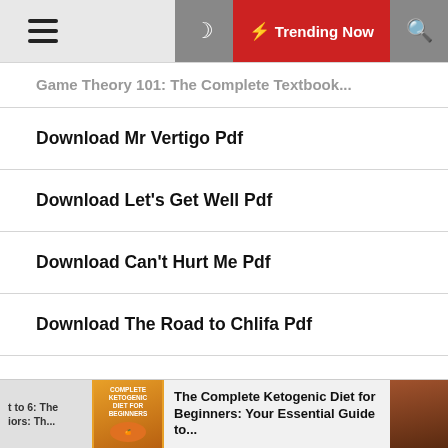Trending Now
Game Theory 101: The Complete Textbook...
Download Mr Vertigo Pdf
Download Let's Get Well Pdf
Download Can't Hurt Me Pdf
Download The Road to Chlifa Pdf
Le Livre De Kalila Et Dimna
Download Belle du Seigneur Pdf
Download The Second Edition...
The Complete Ketogenic Diet for Beginners: Your Essential Guide to...